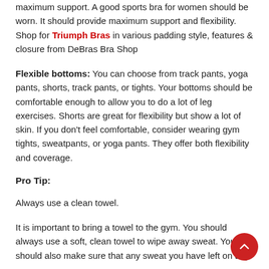maximum support. A good sports bra for women should be worn. It should provide maximum support and flexibility. Shop for Triumph Bras in various padding style, features & closure from DeBras Bra Shop
Flexible bottoms: You can choose from track pants, yoga pants, shorts, track pants, or tights. Your bottoms should be comfortable enough to allow you to do a lot of leg exercises. Shorts are great for flexibility but show a lot of skin. If you don't feel comfortable, consider wearing gym tights, sweatpants, or yoga pants. They offer both flexibility and coverage.
Pro Tip:
Always use a clean towel.
It is important to bring a towel to the gym. You should always use a soft, clean towel to wipe away sweat. You should also make sure that any sweat you have left on any